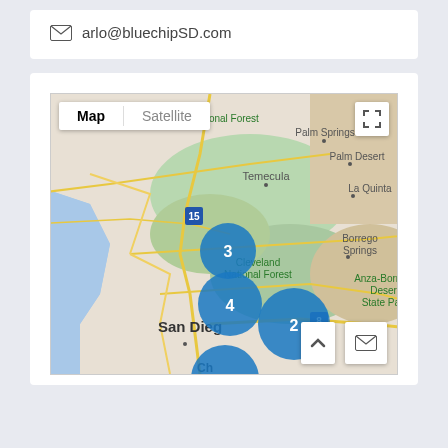arlo@bluechipSD.com
[Figure (map): Google Maps view showing Southern California region including Riverside, National Forest, Palm Springs, Palm Desert, La Quinta, Temecula, Borrego Springs, Cleveland National Forest, Anza-Borrego Desert State Park, San Diego, and Chula Vista areas. Map/Satellite toggle controls visible. Three blue cluster markers visible: one labeled 3, one labeled 4, and one labeled 2 near San Diego area. A larger blue cluster marker partially visible at bottom.]